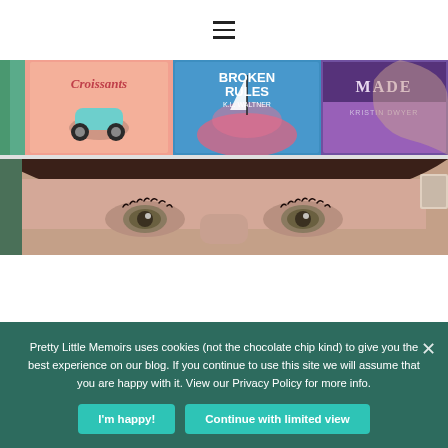☰
[Figure (photo): Three book covers side by side: Croissants (pink cover with scooter), Broken Rules by K.L. Waltner (blue/coral), Made by Kristin Dwyer (purple/dark), with a close-up face of a woman with dark hair and hazel eyes below]
Pretty Little Memoirs uses cookies (not the chocolate chip kind) to give you the best experience on our blog. If you continue to use this site we will assume that you are happy with it. View our Privacy Policy for more info.
I'm happy!  Continue with limited view